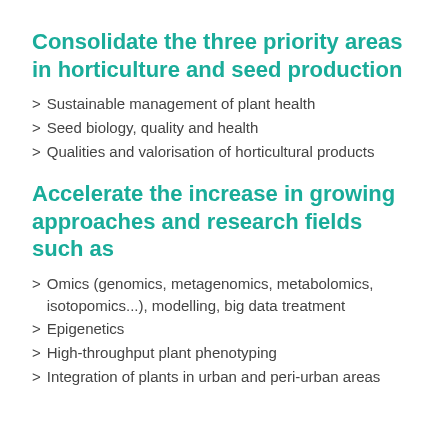Consolidate the three priority areas in horticulture and seed production
Sustainable management of plant health
Seed biology, quality and health
Qualities and valorisation of horticultural products
Accelerate the increase in growing approaches and research fields such as
Omics (genomics, metagenomics, metabolomics, isotopomics...), modelling, big data treatment
Epigenetics
High-throughput plant phenotyping
Integration of plants in urban and peri-urban areas